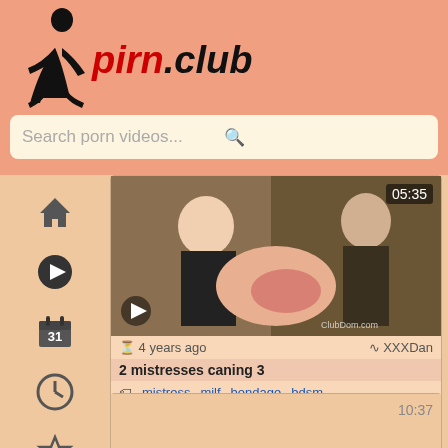[Figure (logo): pirn.club website logo with silhouette figure and red/black text]
Search porn videos...
[Figure (screenshot): Video thumbnail showing two women, one blonde in black lingerie and one brunette in dark outfit, duration 05:35, watermark ClubDom.com]
4 years ago   XXXDan
2 mistresses caning 3
mistress   milf   bondage   bdsm
[Figure (screenshot): Second video card with salmon/peach placeholder thumbnail, duration 10:37]